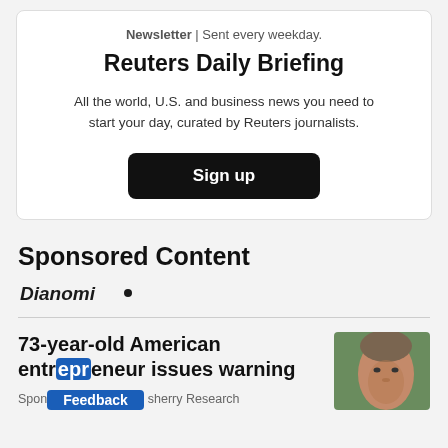Newsletter | Sent every weekday.
Reuters Daily Briefing
All the world, U.S. and business news you need to start your day, curated by Reuters journalists.
Sign up
Sponsored Content
[Figure (logo): Dianomi logo in bold italic text]
73-year-old American entrepreneur issues warning
Sponsored · Stansberry Research
[Figure (photo): Photo of an older man outdoors]
Feedback